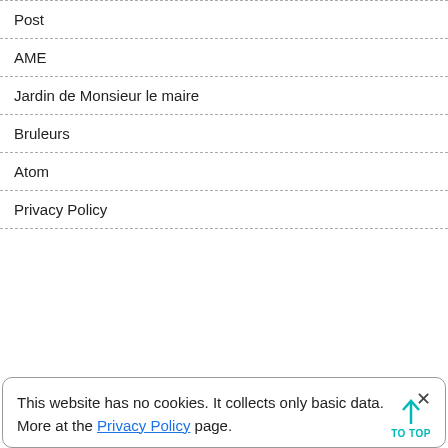Post
AME
Jardin de Monsieur le maire
Bruleurs
Atom
Privacy Policy
This website has no cookies. It collects only basic data. More at the Privacy Policy page.